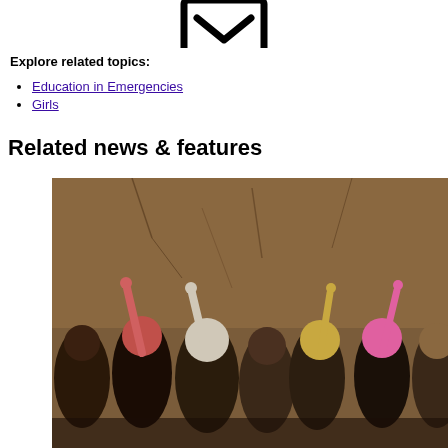[Figure (illustration): Checkbox/email icon with checkmark, partially visible at top of page]
Explore related topics:
Education in Emergencies
Girls
Related news & features
[Figure (photo): Group of girls wearing headscarves raising their hands in a classroom with mud/clay walls]